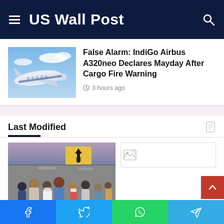US Wall Post
[Figure (photo): IndiGo Airbus A320neo airplane exterior shot, blue sky with clouds]
False Alarm: IndiGo Airbus A320neo Declares Mayday After Cargo Fire Warning
3 hours ago
Last Modified
[Figure (photo): Crowded airport terminal with passengers, directional arrow signs overhead]
[Figure (photo): Broken/loading image placeholder]